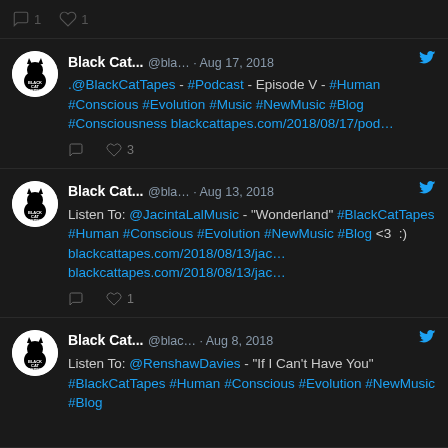[Figure (screenshot): Twitter/social media feed screenshot showing tweets from Black Cat Tapes account on dark background]
Black Cat... @bla... · Aug 17, 2018
.@BlackCatTapes - #Podcast - Episode V - #Human #Conscious #Evolution #Music #NewMusic #Blog #Consciousness blackcattapes.com/2018/08/17/pod…
♡ ♡ 3
Black Cat... @bla... · Aug 13, 2018
Listen To: @JacintaLalMusic - "Wonderland" #BlackCatTapes #Human #Conscious #Evolution #NewMusic #Blog <3 :) blackcattapes.com/2018/08/13/jac… blackcattapes.com/2018/08/13/jac…
♡ ♡ 1
Black Cat... @blac... · Aug 8, 2018
Listen To: @RenshawDavies - "If I Can't Have You" #BlackCatTapes #Human #Conscious #Evolution #NewMusic #Blog